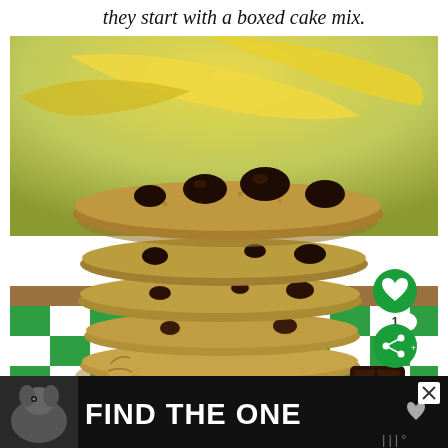they start with a boxed cake mix.
[Figure (photo): A stack of banana chocolate chip cookies with large chocolate chunks on top, placed on a green and white checkered cloth. Yellow bananas visible in the background. A walnut piece visible in the foreground. Green heart icon and share button with count '1' overlaid on lower right of image.]
[Figure (screenshot): Advertisement banner with dark background showing a dog image on left and bold white text 'FIND THE ONE' with a heart icon. A close (X) button in upper right. A logo mark in lower right corner.]